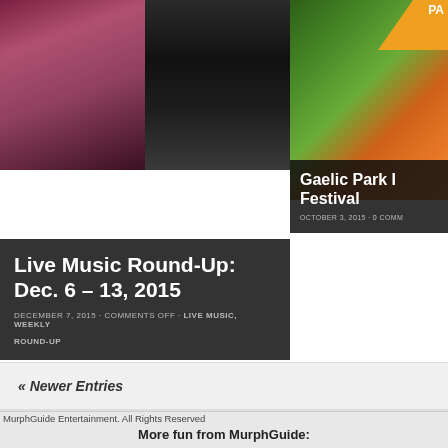[Figure (photo): Left card: Two photos side by side — a female singer on stage (left) and a dark-haired person in black and white (right), overlaid with dark semi-transparent box containing article title and metadata]
Live Music Round-Up: Dec. 6 – 13, 2015
DECEMBER 7, 2015 · COMMENTS OFF · LIVE MUSIC, WEEKLY
ROUND-UP
[Figure (illustration): Right card: Colorful event poster with green and orange design, overlaid with dark semi-transparent box containing title and date]
Gaelic Park I Festival
OCTOBER 3, 2015 · 0 COMM
« Newer Entries
MurphGuide Entertainment. All Rights Reserved
More fun from MurphGuide:
NYC Happy Hour Group | The Irish in NY | Karaoke-
BallDropNYC.com SuperBowlPartyNYC.com |Cinco